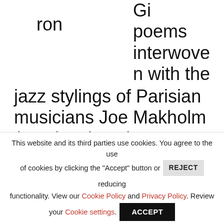Gi ron poems interwoven with the jazz stylings of Parisian musicians Joe Makholm (on piano) and Peter Giron (on bass fiddle). If you missed it, you're not out of luck, because this coming Monday, June 4th at 7 p.m. you can take advantage of a Poet in Paris, University of Southern California Faculty Reading, a fantastic evening of poetry with Cecilia Woloch. Marilyn Hacker. Jeffrey
This website and its third parties use cookies. You agree to the use of cookies by clicking the "Accept" button or REJECT reducing functionality. View our Cookie Policy and Privacy Policy. Review your Cookie settings. ACCEPT